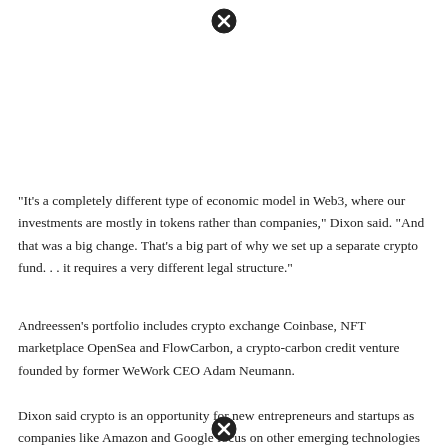[Figure (other): Close/cancel icon (circled X) at the top of the page]
“It’s a completely different type of economic model in Web3, where our investments are mostly in tokens rather than companies,” Dixon said. “And that was a big change. That’s a big part of why we set up a separate crypto fund. . . it requires a very different legal structure.”
Andreessen’s portfolio includes crypto exchange Coinbase, NFT marketplace OpenSea and FlowCarbon, a crypto-carbon credit venture founded by former WeWork CEO Adam Neumann.
Dixon said crypto is an opportunity for new entrepreneurs and startups as companies like Amazon and Google focus on other emerging technologies
[Figure (other): Close/cancel icon (circled X) at the bottom of the page]